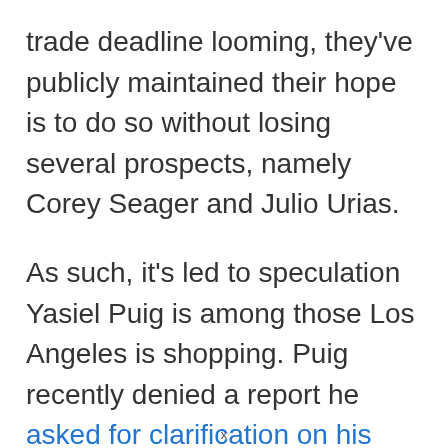trade deadline looming, they've publicly maintained their hope is to do so without losing several prospects, namely Corey Seager and Julio Urias.
As such, it's led to speculation Yasiel Puig is among those Los Angeles is shopping. Puig recently denied a report he asked for clarification on his status with the organization. The feedback he was said to have was received was that the Dodgers did not have him on the